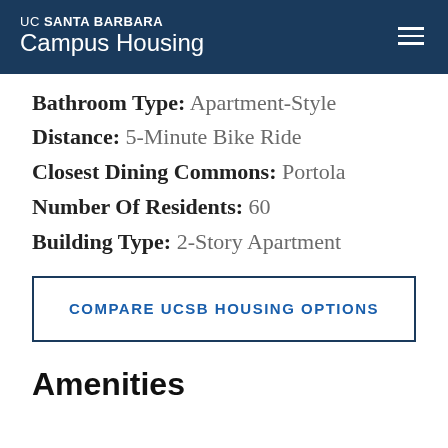UC SANTA BARBARA Campus Housing
Bathroom Type: Apartment-Style
Distance: 5-Minute Bike Ride
Closest Dining Commons: Portola
Number Of Residents: 60
Building Type: 2-Story Apartment
COMPARE UCSB HOUSING OPTIONS
Amenities